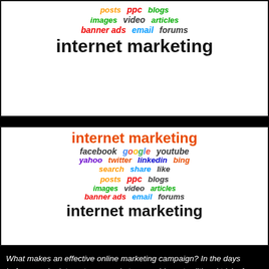[Figure (infographic): Internet marketing word cloud with social media icons - top banner showing words: posts, ppc, blogs, images, video, articles, banner ads, email, forums, internet marketing]
[Figure (infographic): Internet marketing word cloud with social media icons - bottom banner showing: internet marketing, facebook, google, youtube, yahoo, twitter, linkedin, bing, search, share, like, posts, ppc, blogs, images, video, articles, banner ads, email, forums, internet marketing]
What makes an effective online marketing campaign? In the days before regular internet use, marketers would use traditional tricks for getting their message across; a TV commercial with a catchy jingle, a concise newspaper ad or